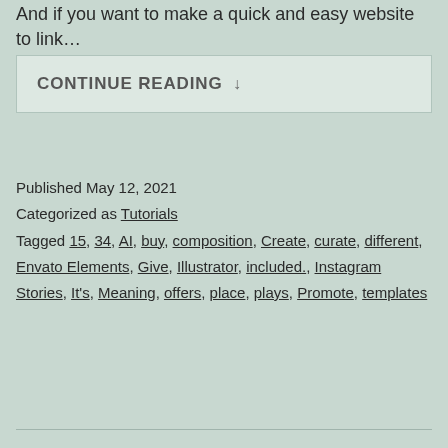And if you want to make a quick and easy website to link…
CONTINUE READING ↓
Published May 12, 2021
Categorized as Tutorials
Tagged 15, 34, AI, buy, composition, Create, curate, different, Envato Elements, Give, Illustrator, included., Instagram Stories, It's, Meaning, offers, place, plays, Promote, templates